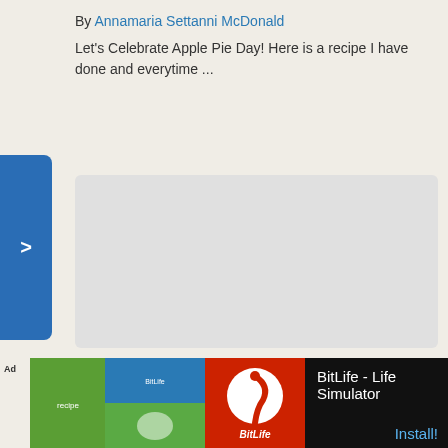By Annamaria Settanni McDonald
Let's Celebrate Apple Pie Day! Here is a recipe I have done and everytime ...
[Figure (other): Large light gray rectangular placeholder image area]
[Figure (other): Mobile advertisement banner for BitLife - Life Simulator app with Install! button]